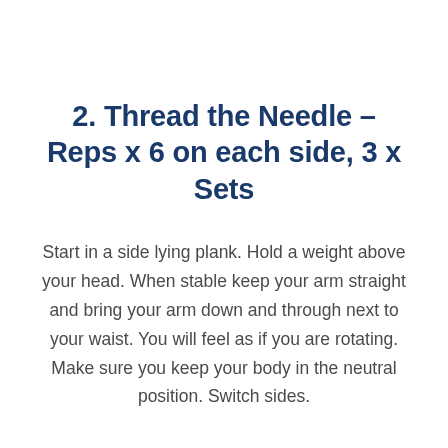2. Thread the Needle – Reps x 6 on each side, 3 x Sets
Start in a side lying plank. Hold a weight above your head. When stable keep your arm straight and bring your arm down and through next to your waist. You will feel as if you are rotating. Make sure you keep your body in the neutral position. Switch sides.